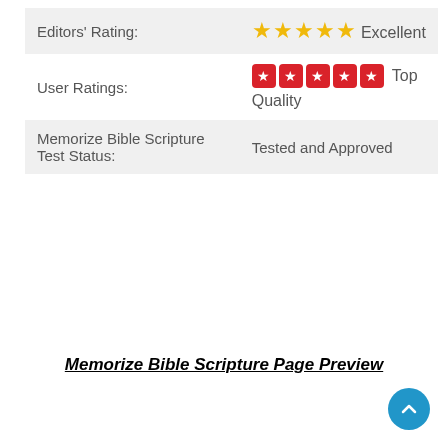|  |  |
| --- | --- |
| Editors’ Rating: | ★★★★★ Excellent |
| User Ratings: | ⬜⬜⬜⬜⬜ Top Quality |
| Memorize Bible Scripture Test Status: | Tested and Approved |
Memorize Bible Scripture Page Preview